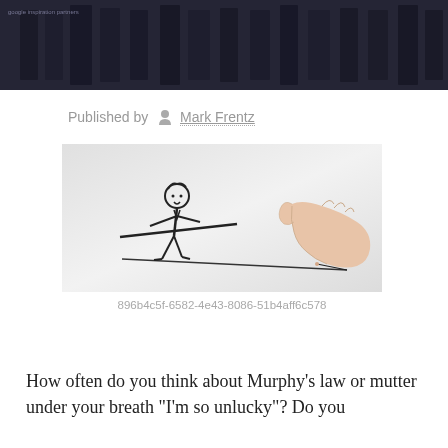Published by Mark Frentz
[Figure (illustration): A cartoon sketch of a small businessman balancing on a tightrope holding a long pole, while a large realistic human hand holds the string of the tightrope from the right side.]
896b4c5f-6582-4e43-8086-51b4aff6c578
How often do you think about Murphy’s law or mutter under your breath “I’m so unlucky”? Do you